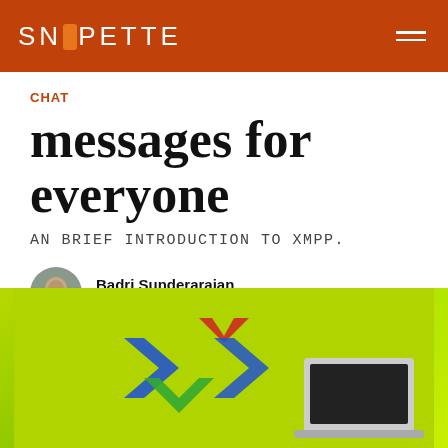SNIPETTE
CHAT
messages for everyone
An brief introduction to XMPP.
Badri Sunderarajan
May 21, 2017 • 3 min read
[Figure (photo): Hero image with green background showing XMPP logo — a colorful X shape made of blue, red, and green arrows/chevrons, with a partial view of a laptop on the right side.]